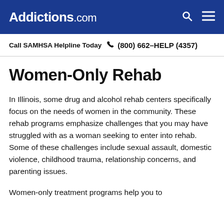Addictions.com
Call SAMHSA Helpline Today  (800) 662-HELP (4357)
Women-Only Rehab
In Illinois, some drug and alcohol rehab centers specifically focus on the needs of women in the community. These rehab programs emphasize challenges that you may have struggled with as a woman seeking to enter into rehab. Some of these challenges include sexual assault, domestic violence, childhood trauma, relationship concerns, and parenting issues.
Women-only treatment programs help you to